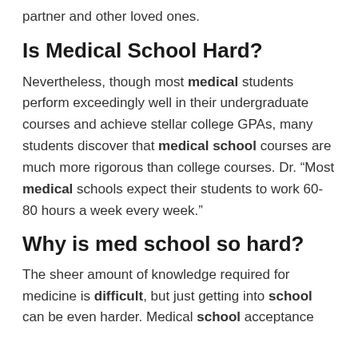partner and other loved ones.
Is Medical School Hard?
Nevertheless, though most medical students perform exceedingly well in their undergraduate courses and achieve stellar college GPAs, many students discover that medical school courses are much more rigorous than college courses. Dr. “Most medical schools expect their students to work 60-80 hours a week every week.”
Why is med school so hard?
The sheer amount of knowledge required for medicine is difficult, but just getting into school can be even harder. Medical school acceptance